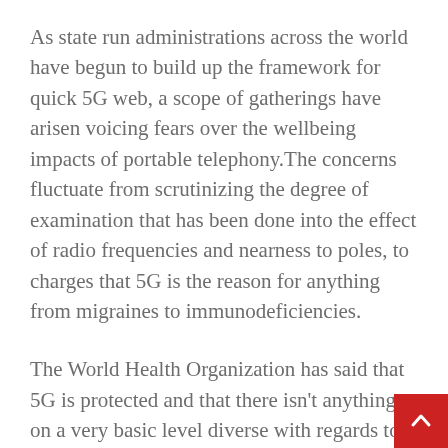As state run administrations across the world have begun to build up the framework for quick 5G web, a scope of gatherings have arisen voicing fears over the wellbeing impacts of portable telephony.The concerns fluctuate from scrutinizing the degree of examination that has been done into the effect of radio frequencies and nearness to poles, to charges that 5G is the reason for anything from migraines to immunodeficiencies.
The World Health Organization has said that 5G is protected and that there isn't anything on a very basic level diverse with regards to the actual attributes of the radio transmissions delivered by 5G contrasted and those created